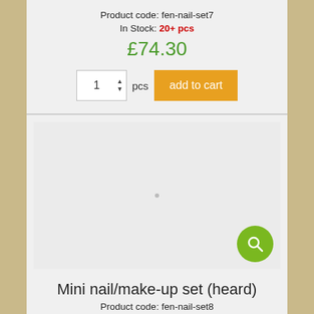Product code: fen-nail-set7
In Stock: 20+ pcs
£74.30
1 pcs add to cart
[Figure (photo): Product image placeholder area with a small dot in center and a green search icon button in the bottom right corner]
Mini nail/make-up set (heard)
Product code: fen-nail-set8
In Stock: 4 pcs